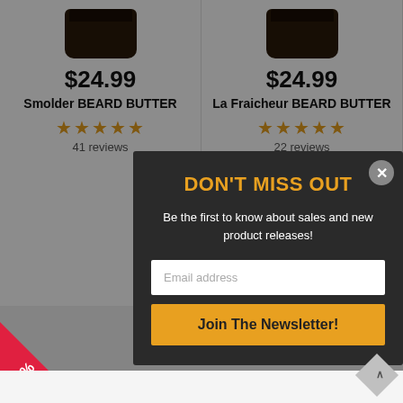$24.99 Smolder BEARD BUTTER — 41 reviews
$24.99 La Fraicheur BEARD BUTTER — 22 reviews
DON'T MISS OUT
Be the first to know about sales and new product releases!
Email address
Join The Newsletter!
10%